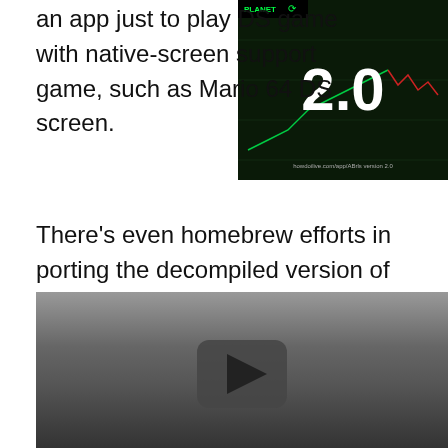an app just to play DS games with native-screen support game, such as Mario 64 DS screen.
[Figure (screenshot): Thumbnail screenshot showing a stock trading chart with the number 2.0 displayed prominently in white, green planet logo in top left corner, dark background with candlestick chart data visible]
There’s even homebrew efforts in porting the decompiled version of Sonic CD to the system, which plays incredibly well, if not for some slowdown on the special stages for now.
[Figure (screenshot): Video thumbnail showing a YouTube-style play button on a dark gradient background]